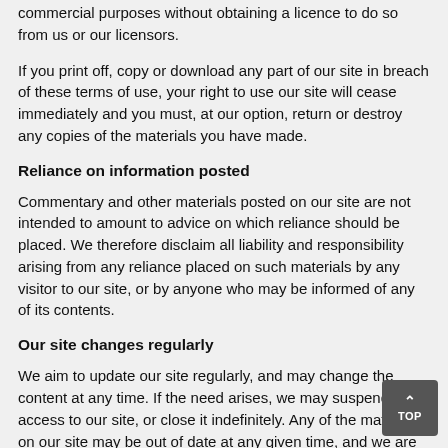commercial purposes without obtaining a licence to do so from us or our licensors.
If you print off, copy or download any part of our site in breach of these terms of use, your right to use our site will cease immediately and you must, at our option, return or destroy any copies of the materials you have made.
Reliance on information posted
Commentary and other materials posted on our site are not intended to amount to advice on which reliance should be placed. We therefore disclaim all liability and responsibility arising from any reliance placed on such materials by any visitor to our site, or by anyone who may be informed of any of its contents.
Our site changes regularly
We aim to update our site regularly, and may change the content at any time. If the need arises, we may suspend access to our site, or close it indefinitely. Any of the material on our site may be out of date at any given time, and we are under no obligation to update such material.